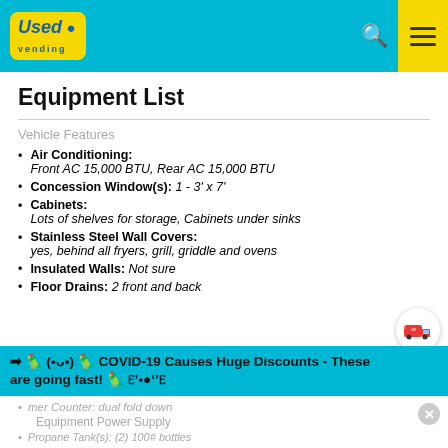Used Vending - header with logo, search, and menu icons
Equipment List
Vehicle Features
Air Conditioning: Front AC 15,000 BTU, Rear AC 15,000 BTU
Concession Window(s): 1 - 3' x 7'
Cabinets: Lots of shelves for storage, Cabinets under sinks
Stainless Steel Wall Covers: yes, behind all fryers, grill, griddle and ovens
Insulated Walls: Not sure
Floor Drains: 2 front and back
→ ꩜ (•ᴗ•) ꩜ COVID-19 Causes Huge Discounts - These are going fast! ꩜ ʕ•ᴥ•ʔ
Customer Counter: dual fold down
Equipment Power Supply
Propane Tank(s): (2) 100# bottles